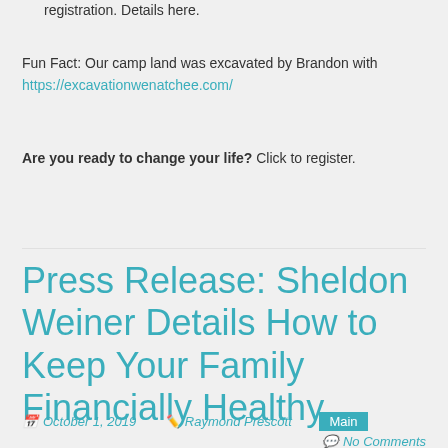registration. Details here.
Fun Fact: Our camp land was excavated by Brandon with https://excavationwenatchee.com/
Are you ready to change your life? Click to register.
Press Release: Sheldon Weiner Details How to Keep Your Family Financially Healthy
October 1, 2019  Raymond Prescott  Main  No Comments